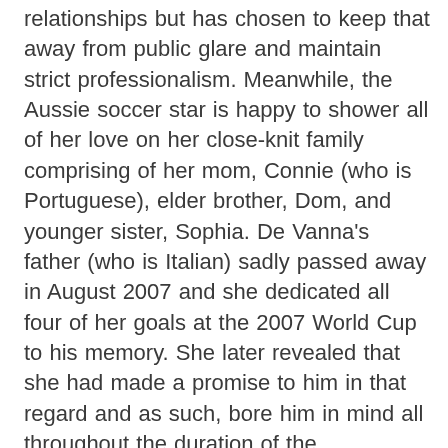relationships but has chosen to keep that away from public glare and maintain strict professionalism. Meanwhile, the Aussie soccer star is happy to shower all of her love on her close-knit family comprising of her mom, Connie (who is Portuguese), elder brother, Dom, and younger sister, Sophia. De Vanna's father (who is Italian) sadly passed away in August 2007 and she dedicated all four of her goals at the 2007 World Cup to his memory. She later revealed that she had made a promise to him in that regard and as such, bore him in mind all throughout the duration of the tournament.